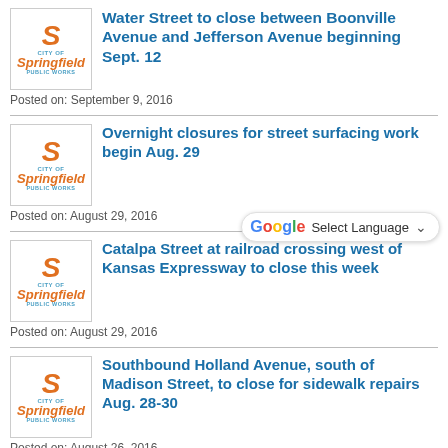[Figure (logo): City of Springfield Public Works logo with orange S and wordmark]
Water Street to close between Boonville Avenue and Jefferson Avenue beginning Sept. 12
Posted on: September 9, 2016
[Figure (logo): City of Springfield Public Works logo with orange S and wordmark]
Overnight closures for street surfacing work begin Aug. 29
Posted on: August 29, 2016
[Figure (logo): City of Springfield Public Works logo with orange S and wordmark]
Catalpa Street at railroad crossing west of Kansas Expressway to close this week
Posted on: August 29, 2016
[Figure (logo): City of Springfield Public Works logo with orange S and wordmark]
Southbound Holland Avenue, south of Madison Street, to close for sidewalk repairs Aug. 28-30
Posted on: August 26, 2016
[Figure (logo): City of Springfield Public Works logo with orange S and wordmark]
Commercial Street to close for one month between Benton Avenue and